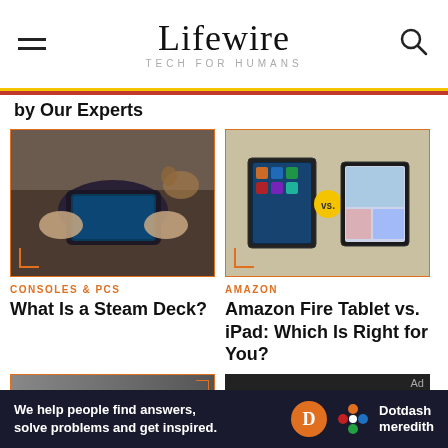Lifewire TECH FOR HUMANS
by Our Experts
[Figure (photo): Person holding a handheld gaming device (Steam Deck) while sitting on a couch with a dog nearby]
CONSOLES & PCS
What Is a Steam Deck?
[Figure (photo): Amazon Fire Tablet vs iPad comparison image on tan/khaki background with 'vs.' badge in center]
AMAZON
Amazon Fire Tablet vs. iPad: Which Is Right for You?
[Figure (photo): Partial bottom card image - dark chair/furniture]
[Figure (photo): Dark/black bottom card with Ad label]
We help people find answers, solve problems and get inspired. Dotdash meredith